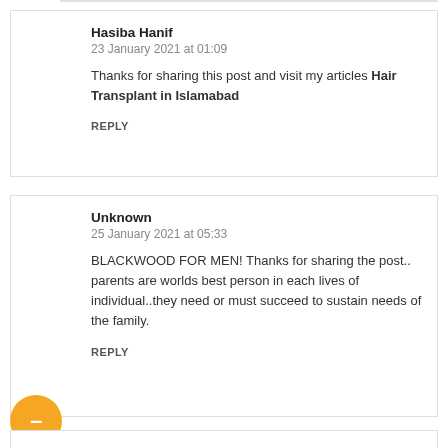Hasiba Hanif
23 January 2021 at 01:09
Thanks for sharing this post and visit my articles Hair Transplant in Islamabad
REPLY
Unknown
25 January 2021 at 05:33
BLACKWOOD FOR MEN! Thanks for sharing the post.. parents are worlds best person in each lives of individual..they need or must succeed to sustain needs of the family.
REPLY
skin clinic